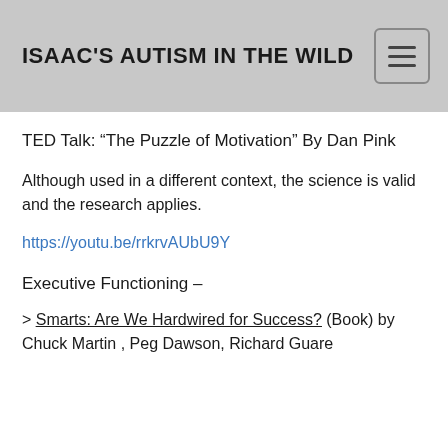ISAAC'S AUTISM IN THE WILD
TED Talk: “The Puzzle of Motivation” By Dan Pink
Although used in a different context, the science is valid and the research applies.
https://youtu.be/rrkrvAUbU9Y
Executive Functioning –
> Smarts: Are We Hardwired for Success? (Book) by Chuck Martin , Peg Dawson, Richard Guare